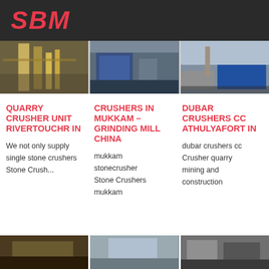[Figure (logo): SBM logo in red italic script on dark background]
[Figure (photo): Three industrial crusher/quarry site photographs in a row]
QUARRY CRUSHER UNIT RIVERTOUCHR IN
CRUSHERS IN MUKKAM – GRINDING MILL CHINA
DUBAR CRUSHERS CC ATHULYAFORT IN
We not only supply single stone crushers Stone Crush...
mukkam stonecrusher Stone Crushers mukkam
dubar crushers cc Crusher quarry mining and construction
[Figure (photo): Three more industrial site photographs at the bottom of the page]